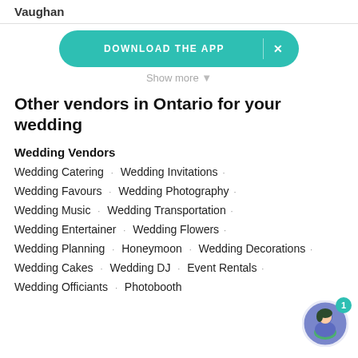Vaughan
[Figure (screenshot): Teal 'DOWNLOAD THE APP' banner button with X close button]
Show more
Other vendors in Ontario for your wedding
Wedding Vendors
Wedding Catering · Wedding Invitations ·
Wedding Favours · Wedding Photography ·
Wedding Music · Wedding Transportation ·
Wedding Entertainer · Wedding Flowers ·
Wedding Planning · Honeymoon · Wedding Decorations ·
Wedding Cakes · Wedding DJ · Event Rentals ·
Wedding Officiants · Photobooth